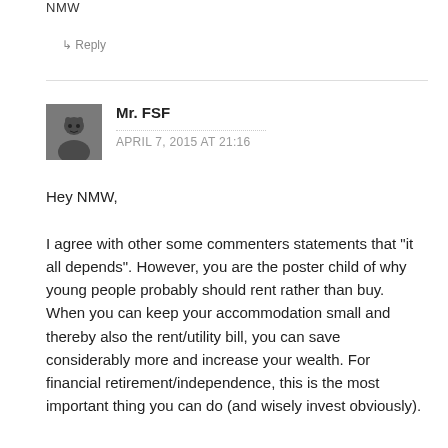NMW
↳ Reply
Mr. FSF
APRIL 7, 2015 AT 21:16
Hey NMW,

I agree with other some commenters statements that "it all depends". However, you are the poster child of why young people probably should rent rather than buy. When you can keep your accommodation small and thereby also the rent/utility bill, you can save considerably more and increase your wealth. For financial retirement/independence, this is the most important thing you can do (and wisely invest obviously).